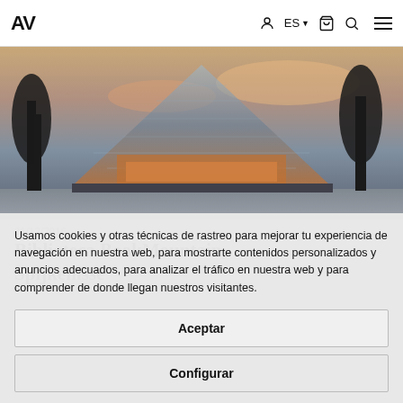AV   ES   [cart]   [search]   [menu]
[Figure (photo): Exterior photograph of Book Mountain library in Spijkenisse, showing a large glass pyramid-shaped building at dusk with bare trees in the foreground and a warm interior glow visible through the glass facade.]
31/12/2016
Biblioteca BookMountain, Spijkenisse
Usamos cookies y otras técnicas de rastreo para mejorar tu experiencia de navegación en nuestra web, para mostrarte contenidos personalizados y anuncios adecuados, para analizar el tráfico en nuestra web y para comprender de donde llegan nuestros visitantes.
Aceptar
Configurar